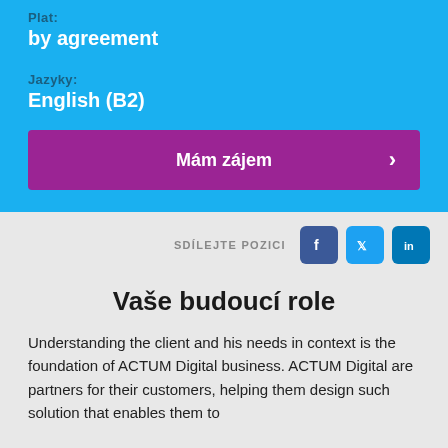Plat:
by agreement
Jazyky:
English (B2)
Mám zájem
SDÍLEJTE POZICI
Vaše budoucí role
Understanding the client and his needs in context is the foundation of ACTUM Digital business. ACTUM Digital are partners for their customers, helping them design such solution that enables them to